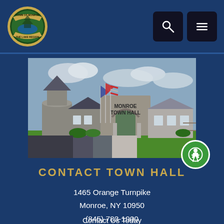Town of Monroe - Contact Town Hall
[Figure (photo): Photo of Monroe Town Hall building exterior with American flag and stone facade with 'Monroe Town Hall' text carved in stone.]
CONTACT TOWN HALL
1465 Orange Turnpike
Monroe, NY 10950
(845) 783-1900
Contact Us Today